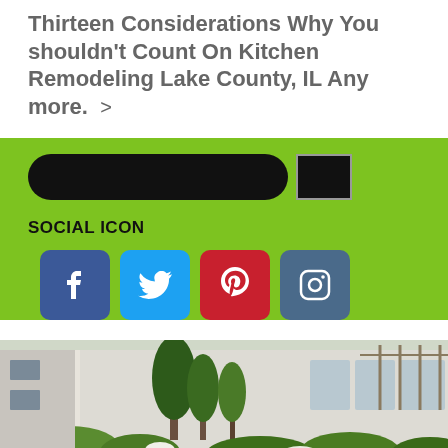Thirteen Considerations Why You shouldn't Count On Kitchen Remodeling Lake County, IL Any more. >
[Figure (infographic): Green section with a black pill-shaped search bar and a black square button side by side]
SOCIAL ICON
[Figure (infographic): Four social media icons in a row: Facebook (blue), Twitter (light blue), Pinterest (red), Instagram (steel blue)]
[Figure (photo): Photograph of a landscaped garden with trees, green lawn, flowering plants, and a white building in the background]